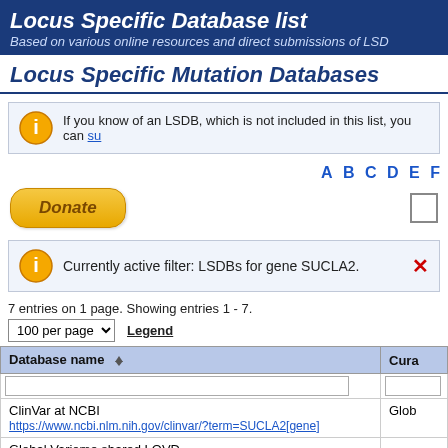Locus Specific Database list — Based on various online resources and direct submissions of LSD
Locus Specific Mutation Databases
If you know of an LSDB, which is not included in this list, you can su
A B C D E F
[Figure (other): Donate button (PayPal-style gold oval button)]
Currently active filter: LSDBs for gene SUCLA2.
7 entries on 1 page. Showing entries 1 - 7.
100 per page   Legend
| Database name | Cura |
| --- | --- |
| ClinVar at NCBI
https://www.ncbi.nlm.nih.gov/clinvar/?term=SUCLA2[gene] | Glob |
| Global Variome shared LOVD |  |